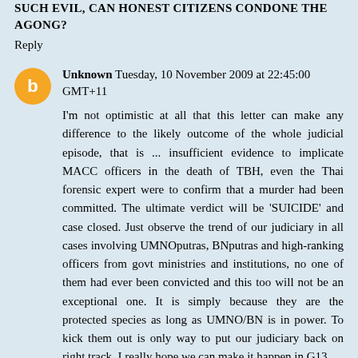SUCH EVIL, CAN HONEST CITIZENS CONDONE THE AGONG?
Reply
Unknown  Tuesday, 10 November 2009 at 22:45:00 GMT+11
I'm not optimistic at all that this letter can make any difference to the likely outcome of the whole judicial episode, that is ... insufficient evidence to implicate MACC officers in the death of TBH, even the Thai forensic expert were to confirm that a murder had been committed. The ultimate verdict will be 'SUICIDE' and case closed. Just observe the trend of our judiciary in all cases involving UMNOputras, BNputras and high-ranking officers from govt ministries and institutions, no one of them had ever been convicted and this too will not be an exceptional one. It is simply because they are the protected species as long as UMNO/BN is in power. To kick them out is only way to put our judiciary back on right track. I really hope we can make it happen in G13.
Reply